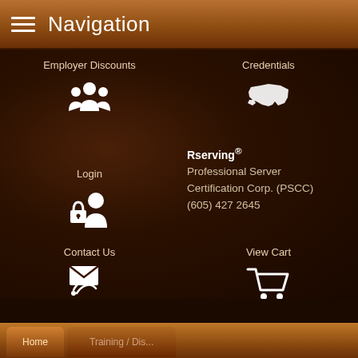Navigation
Employer Discounts
Credentials
Login
Rserving® Professional Server Certification Corp. (PSCC) (605) 427 2645
Contact Us
View Cart